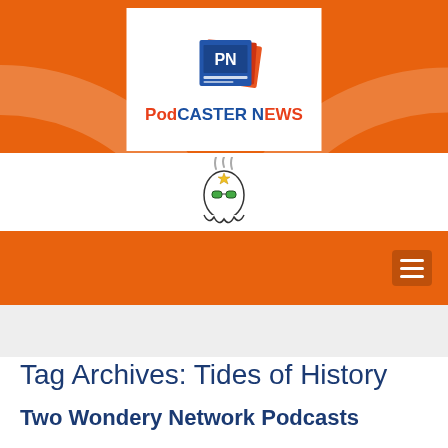[Figure (logo): Podcaster News website header with orange RSS feed background arcs, white logo box containing a blue newspaper icon with 'PN' letters and 'PodCaster News' text in orange and blue, a white mascot strip with a ghost/alien character with sunglasses and steam, and an orange navigation bar with hamburger menu icon]
Tag Archives: Tides of History
Two Wondery Network Podcasts